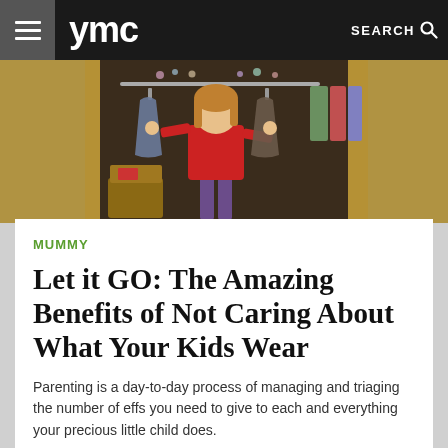ymc   SEARCH
[Figure (photo): Young girl in red dress standing in a closet holding up two dresses on hangers, surrounded by clothes on racks and gold curtains]
MUMMY
Let it GO: The Amazing Benefits of Not Caring About What Your Kids Wear
Parenting is a day-to-day process of managing and triaging the number of effs you need to give to each and everything your precious little child does.